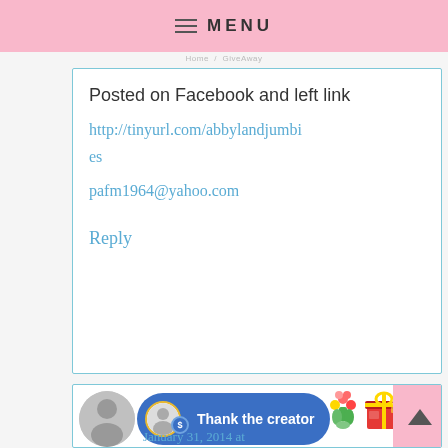MENU
Posted on Facebook and left link
http://tinyurl.com/abbylandjumbies
pafm1964@yahoo.com
Reply
[Figure (illustration): Second comment block with avatar, Thank the creator button, flower and gift emojis, and handwritten January date text]
January 31, 2014 at